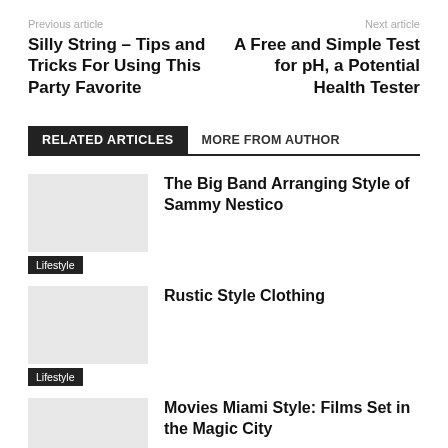Previous article | Next article
Silly String – Tips and Tricks For Using This Party Favorite
A Free and Simple Test for pH, a Potential Health Tester
RELATED ARTICLES | MORE FROM AUTHOR
The Big Band Arranging Style of Sammy Nestico
Lifestyle
Rustic Style Clothing
Lifestyle
Movies Miami Style: Films Set in the Magic City